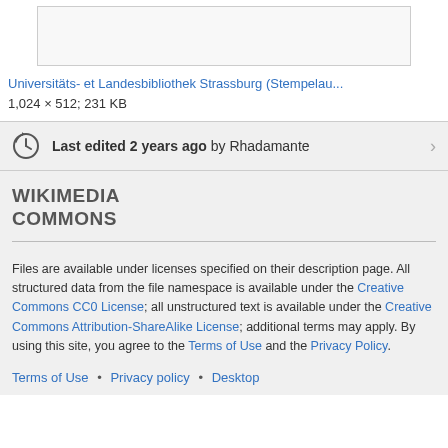[Figure (other): Partial image placeholder (cropped library image)]
Universitäts- et Landesbibliothek Strassburg (Stempelau...
1,024 × 512; 231 KB
Last edited 2 years ago by Rhadamante
WIKIMEDIA COMMONS
Files are available under licenses specified on their description page. All structured data from the file namespace is available under the Creative Commons CC0 License; all unstructured text is available under the Creative Commons Attribution-ShareAlike License; additional terms may apply. By using this site, you agree to the Terms of Use and the Privacy Policy.
Terms of Use • Privacy policy • Desktop